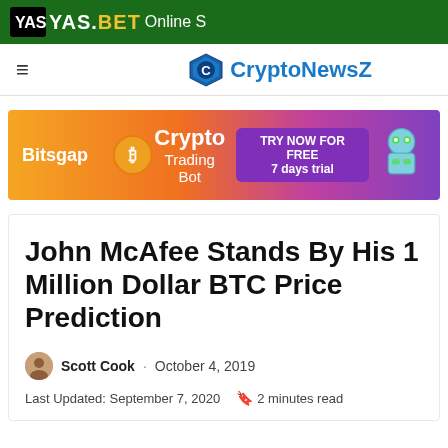[Figure (logo): YAS.BET Online S banner on dark green background]
CryptoNewsZ
[Figure (illustration): Bitsgap Crypto Trading Bot advertisement banner with gradient background, coin icons and robot]
John McAfee Stands By His 1 Million Dollar BTC Price Prediction
Scott Cook · October 4, 2019
Last Updated: September 7, 2020  2 minutes read